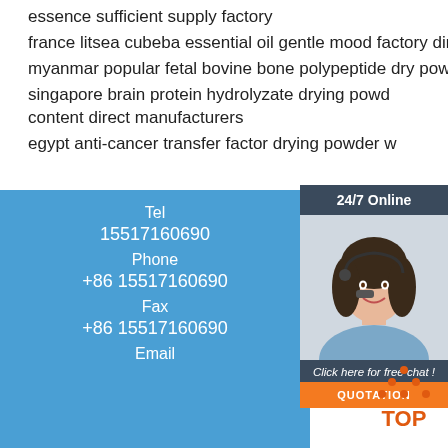essence sufficient supply factory
france litsea cubeba essential oil gentle mood factory direct sales
myanmar popular fetal bovine bone polypeptide dry powder business
singapore brain protein hydrolyzate drying powder content direct manufacturers
egypt anti-cancer transfer factor drying powder w
[Figure (photo): Customer service agent with headset, 24/7 Online chat widget with orange QUOTATION button]
Tel
15517160690
Phone
+86 15517160690
Fax
+86 15517160690
Email